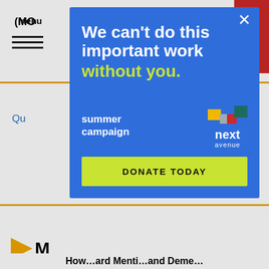[Figure (screenshot): Background webpage partially visible: menu/hamburger icon top left, red button top right reading 'te', yellow horizontal divider lines, '(MO' text, 'Qu' text in blue link style, yellow arrow icon, large 'M' letter, numbered list items '1.', '2.', '3.']
[Figure (infographic): Blue modal dialog overlay with text 'We can't do this important work without you.' in white and green, 'summer campaign' label, Next Avenue logo with colorful square icons, and a bright green-yellow 'DONATE TODAY' call-to-action button. Close X button at top right.]
We can't do this important work without you.
summer campaign
next avenue
DONATE TODAY